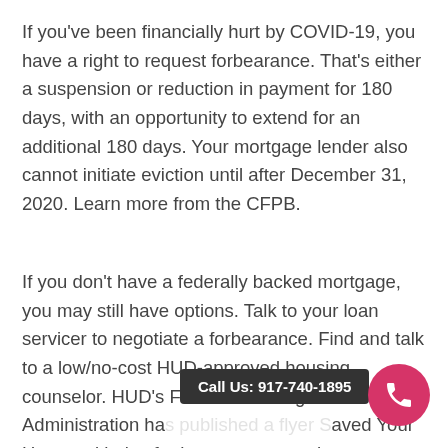If you've been financially hurt by COVID-19, you have a right to request forbearance. That's either a suspension or reduction in payment for 180 days, with an opportunity to extend for an additional 180 days. Your mortgage lender also cannot initiate eviction until after December 31, 2020. Learn more from the CFPB.
If you don't have a federally backed mortgage, you may still have options. Talk to your loan servicer to negotiate a forbearance. Find and talk to a low/no-cost HUD-approved housing counselor. HUD's Federal Housing Administration ha[s] [published a flyer] S[ave] Your Home, with tips for homeowners on how to